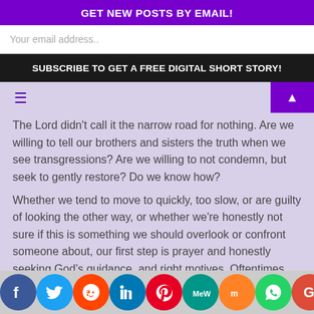GET NEW POSTS BY EMAIL!
Your email address..
SUBSCRIBE TO GET A FREE DIGITAL SHORT STORY!
The Lord didn't call it the narrow road for nothing. Are we willing to tell our brothers and sisters the truth when we see transgressions? Are we willing to not condemn, but seek to gently restore? Do we know how?
Whether we tend to move to quickly, too slow, or are guilty of looking the other way, or whether we're honestly not sure if this is something we should overlook or confront someone about, our first step is prayer and honestly seeking God's guidance, and right motives. Oftentimes we bring our own ideas in and sometimes we mistake the voice of fear for Christian love, since
[Figure (infographic): Social media sharing icons row: Facebook, Twitter, Reddit, LinkedIn, Pinterest, MeWe, Mix, WhatsApp, Google, Share]